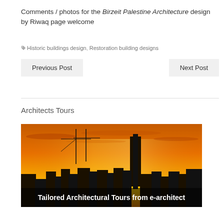Comments / photos for the Birzeit Palestine Architecture design by Riwaq page welcome
Historic buildings design, Restoration building designs
Previous Post
Next Post
Architects Tours
[Figure (photo): City skyline silhouette against a vivid orange and yellow sunset sky with construction cranes visible. Text overlay reads: Tailored Architectural Tours from e-architect]